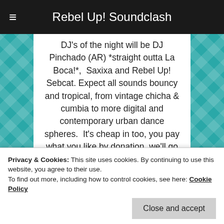Rebel Up! Soundclash
DJ's of the night will be DJ Pinchado (AR) *straight outta La Boca!*,  Saxixa and Rebel Up! Sebcat. Expect all sounds bouncy and tropical, from vintage chicha & cumbia to more digital and contemporary urban dance spheres.  It's cheap in too, you pay what you like by donation, we'll go soft on your wallet but heavy on your feet 😉
Info? see event here.
[Figure (photo): Sepia-toned vintage photograph of a large historic building with trees in the foreground]
Privacy & Cookies: This site uses cookies. By continuing to use this website, you agree to their use.
To find out more, including how to control cookies, see here: Cookie Policy